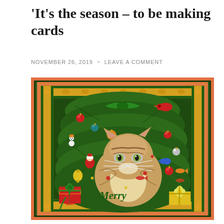'It's the season – to be making cards
NOVEMBER 26, 2019  ~  LEAVE A COMMENT
[Figure (photo): A hand-crafted Christmas card featuring an illustration of a tabby cat sitting among Christmas tree branches decorated with colorful ornaments, bells, a cardinal bird, wrapped gifts, and holiday decorations. The card has an orange border with green and gold decorative elements. The word 'Merry' is partially visible at the bottom.]